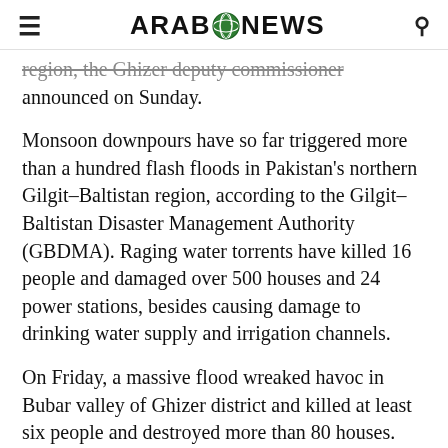ARAB NEWS
region, the Ghizer deputy commissioner announced on Sunday.
Monsoon downpours have so far triggered more than a hundred flash floods in Pakistan's northern Gilgit–Baltistan region, according to the Gilgit–Baltistan Disaster Management Authority (GBDMA). Raging water torrents have killed 16 people and damaged over 500 houses and 24 power stations, besides causing damage to drinking water supply and irrigation channels.
On Friday, a massive flood wreaked havoc in Bubar valley of Ghizer district and killed at least six people and destroyed more than 80 houses.
“Due to heavy rains, floods and road blockades, it